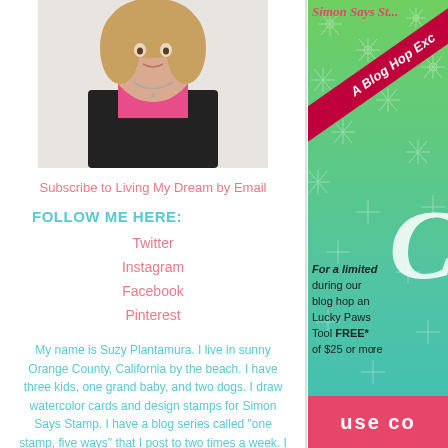[Figure (photo): Portrait photo of Suzy Plantamura, a woman with blonde hair wearing pink top and dark cardigan]
Subscribe to Living My Dream by Email
FOLLOW ME HERE:
Twitter
Instagram
Facebook
Pinterest
My name is Suzy Plantamura. I live in sunny Orange County, California by the beach. I have three kids, one grand baby, and two dogs. I draw watercolor cards and design stamps for Simon Says Stamp. I have a blog series called "one stamp, five ways" that I post to two times a week. I want to motivate and
[Figure (infographic): Simon Says Stamp Blog Hop Extravaganza promotional banner with green snowflake background, red diagonal ribbon reading 'A Blog Hop Exc...', large decorative letter, and promotional text about getting Lucky Paws Tool FREE* with purchase of $25 or more. Pink bar at bottom with USE CO... text.]